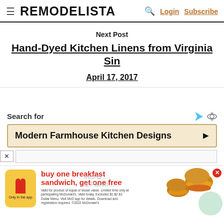REMODELISTA | Login Subscribe
Next Post
Hand-Dyed Kitchen Linens from Virginia Sin
April 17, 2017
Search for
Modern Farmhouse Kitchen Designs
[Figure (screenshot): McDonald's advertisement: buy one breakfast sandwich, get one free. Only in the app. Shows McDonald's logo, burger images, and fine print about validity.]